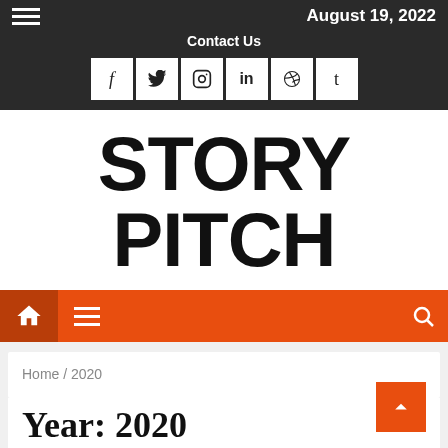August 19, 2022
Contact Us
[Figure (other): Social media icons: Facebook, Twitter, Instagram, LinkedIn, Pinterest, Tumblr]
STORY PITCH
[Figure (other): Navigation bar with home icon, hamburger menu, and search icon on orange background]
Home / 2020
Year: 2020